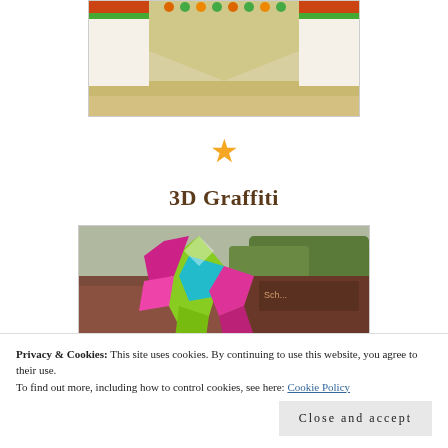[Figure (photo): Top portion of a building or temple with colorful decorative trim, white walls, and sandy/dirt ground visible at the bottom. The image is partially cropped showing the upper section with green and red decorative elements.]
★
3D Graffiti
[Figure (photo): 3D graffiti artwork on a building rooftop showing a colorful geometric figure in green, pink, magenta, and teal colors. The background shows a brick building and trees.]
Privacy & Cookies: This site uses cookies. By continuing to use this website, you agree to their use.
To find out more, including how to control cookies, see here: Cookie Policy
Close and accept